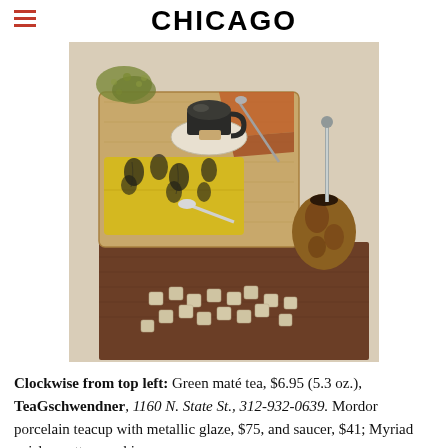CHICAGO
[Figure (photo): Overhead/angled lifestyle photo of tea items on a linen surface: green maté tea herbs scattered, a wooden tray with a dark metallic teacup on a saucer with a utensil, a yellow floral-print cotton napkin folded with a spoon, a ceramic gourd-shaped yerba mate vessel with a metal straw, and loose sugar cubes on a brown woven placemat.]
Clockwise from top left: Green maté tea, $6.95 (5.3 oz.), TeaGschwendner, 1160 N. State St., 312-932-0639. Mordor porcelain teacup with metallic glaze, $75, and saucer, $41; Myriad paisley cotton napkin,